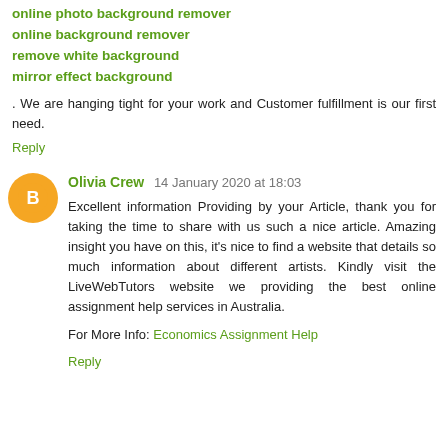online photo background remover
online background remover
remove white background
mirror effect background
. We are hanging tight for your work and Customer fulfillment is our first need.
Reply
Olivia Crew  14 January 2020 at 18:03
Excellent information Providing by your Article, thank you for taking the time to share with us such a nice article. Amazing insight you have on this, it's nice to find a website that details so much information about different artists. Kindly visit the LiveWebTutors website we providing the best online assignment help services in Australia.
For More Info: Economics Assignment Help
Reply